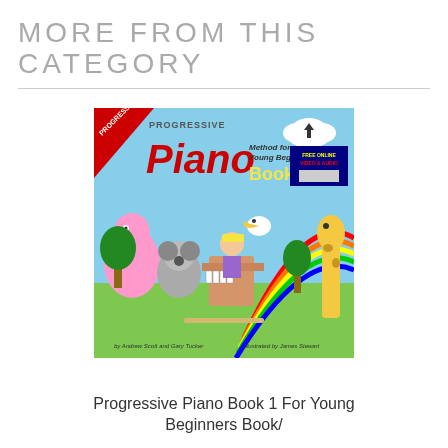MORE FROM THIS CATEGORY
[Figure (photo): Book cover of Progressive Piano Method for Young Beginners Book 1, featuring colorful cartoon animals and a child playing piano, with rainbows in the background. Authors: Andrew Scott and Gary Turner. Illustrated by James Stewart. Includes FREE ONLINE VIDEO & AUDIO badge.]
Progressive Piano Book 1 For Young Beginners Book/